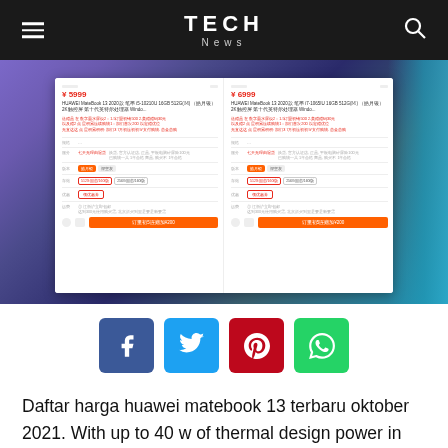TECH News
[Figure (screenshot): Screenshot of a Chinese e-commerce product listing page showing two Huawei MateBook 13 2020 laptops with prices ¥5999 and ¥6999, product details in Chinese, storage options, coupon buttons, and orange buy buttons.]
[Figure (infographic): Social sharing buttons row: Facebook (blue), Twitter (cyan), Pinterest (red), WhatsApp (green)]
Daftar harga huawei matebook 13 terbaru oktober 2021. With up to 40 w of thermal design power in performance mode 18, you'll be able to run multiple programs at any one … And the 3:2 aspect ratio is perfect for reading and writing.